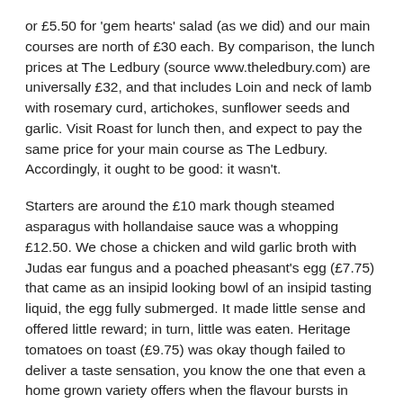or £5.50 for 'gem hearts' salad (as we did) and our main courses are north of £30 each. By comparison, the lunch prices at The Ledbury (source www.theledbury.com) are universally £32, and that includes Loin and neck of lamb with rosemary curd, artichokes, sunflower seeds and garlic. Visit Roast for lunch then, and expect to pay the same price for your main course as The Ledbury. Accordingly, it ought to be good: it wasn't.
Starters are around the £10 mark though steamed asparagus with hollandaise sauce was a whopping £12.50. We chose a chicken and wild garlic broth with Judas ear fungus and a poached pheasant's egg (£7.75) that came as an insipid looking bowl of an insipid tasting liquid, the egg fully submerged. It made little sense and offered little reward; in turn, little was eaten. Heritage tomatoes on toast (£9.75) was okay though failed to deliver a taste sensation, you know the one that even a home grown variety offers when the flavour bursts in your mouth putting the supermarket generics to shame.
While the duck on one of our chosen main courses was at least tender, even if a little overcooked and under-seasoned, it still seemed